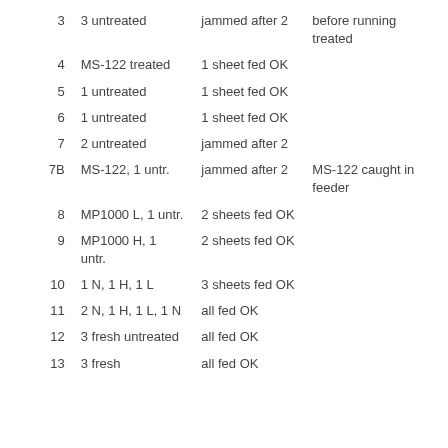| 3 | 3 untreated | jammed after 2 | before running treated |
| 4 | MS-122 treated | 1 sheet fed OK |  |
| 5 | 1 untreated | 1 sheet fed OK |  |
| 6 | 1 untreated | 1 sheet fed OK |  |
| 7 | 2 untreated | jammed after 2 |  |
| 7B | MS-122, 1 untr. | jammed after 2 | MS-122 caught in feeder |
| 8 | MP1000 L, 1 untr. | 2 sheets fed OK |  |
| 9 | MP1000 H, 1 untr. | 2 sheets fed OK |  |
| 10 | 1 N, 1 H, 1 L | 3 sheets fed OK |  |
| 11 | 2 N, 1 H, 1 L, 1 N | all fed OK |  |
| 12 | 3 fresh untreated | all fed OK |  |
| 13 | 3 fresh | all fed OK |  |